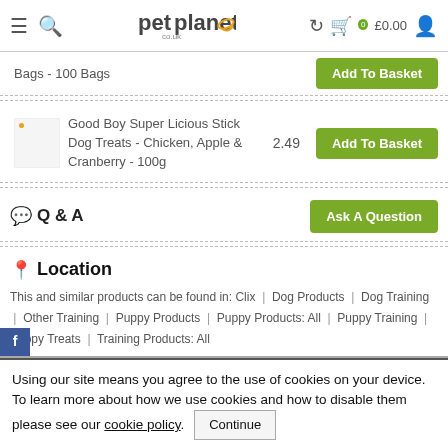petplanet.co.uk — £0.00 basket
Bags - 100 Bags
Good Boy Super Licious Stick Dog Treats - Chicken, Apple & Cranberry - 100g | 2.49 | Add To Basket
Q & A
Location
This and similar products can be found in: Clix | Dog Products | Dog Training | Other Training | Puppy Products | Puppy Products: All | Puppy Training | Puppy Treats | Training Products: All
Using our site means you agree to the use of cookies on your device. To learn more about how we use cookies and how to disable them please see our cookie policy. Continue